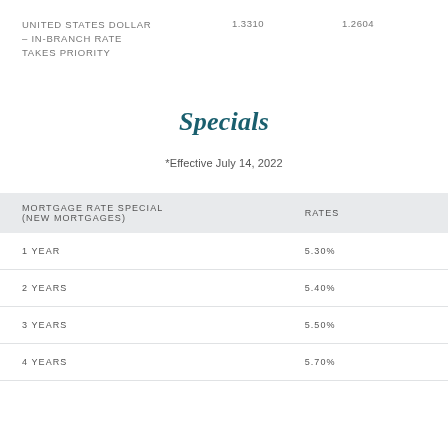UNITED STATES DOLLAR – IN-BRANCH RATE TAKES PRIORITY    1.3310    1.2604
Specials
*Effective July 14, 2022
| MORTGAGE RATE SPECIAL (NEW MORTGAGES) | RATES |
| --- | --- |
| 1 YEAR | 5.30% |
| 2 YEARS | 5.40% |
| 3 YEARS | 5.50% |
| 4 YEARS | 5.70% |